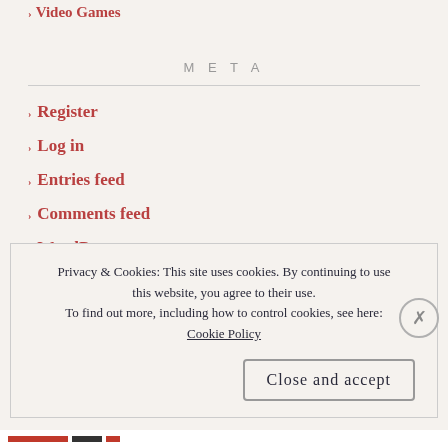Video Games
META
Register
Log in
Entries feed
Comments feed
WordPress.com
Privacy & Cookies: This site uses cookies. By continuing to use this website, you agree to their use. To find out more, including how to control cookies, see here: Cookie Policy
Close and accept